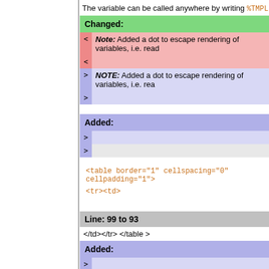The variable can be called anywhere by writing %TMPL:P{"sep
Changed:
< Note: Added a dot to escape rendering of variables, i.e. read
> NOTE: Added a dot to escape rendering of variables, i.e. rea
Added:
> (empty rows)
<table border="1" cellspacing="0" cellpadding="1">
<tr><td>
Line: 99 to 93
</td></tr> </table >
Added:
> (empty)